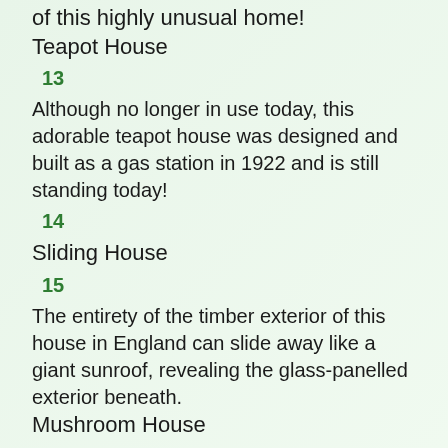of this highly unusual home!
Teapot House
13
Although no longer in use today, this adorable teapot house was designed and built as a gas station in 1922 and is still standing today!
14
Sliding House
15
The entirety of the timber exterior of this house in England can slide away like a giant sunroof, revealing the glass-panelled exterior beneath.
Mushroom House
16